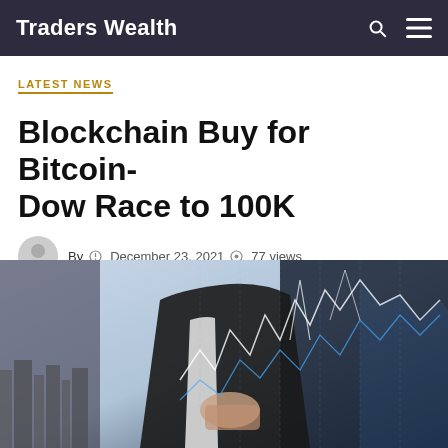Traders Wealth
LATEST NEWS
Blockchain Buy for Bitcoin-Dow Race to 100K
By  December 23, 2021  77 views
[Figure (screenshot): Social share buttons: Facebook (f), Twitter (bird), Google+ (G+), Pinterest (p) and a comment count button showing 0]
[Figure (photo): A person in a suit pointing at financial chart overlays showing line graphs and data, with a city skyline visible in the background]